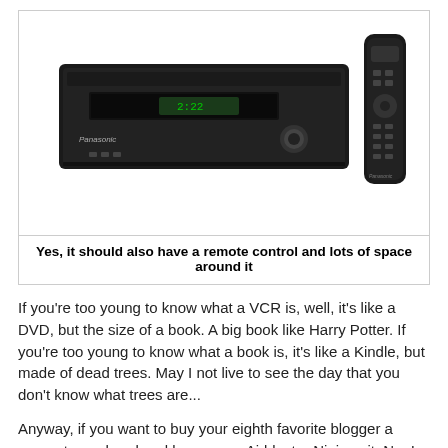[Figure (photo): Photo of a Panasonic VCR/DVD combo player device in black with a remote control to the right side]
Yes, it should also have a remote control and lots of space around it
If you're too young to know what a VCR is, well, it's like a DVD, but the size of a book. A big book like Harry Potter. If you're too young to know what a book is, it's like a Kindle, but made of dead trees. May I not live to see the day that you don't know what trees are...
Anyway, if you want to buy your eighth favorite blogger a present, go ahead and buy me an Airblaster Ninja suit. No, I didn't get one last year (or the year before or before that). I'm a size medium and I prefer the black, merino wool kind. Yes, the one with the hood. If you ask me, they should have